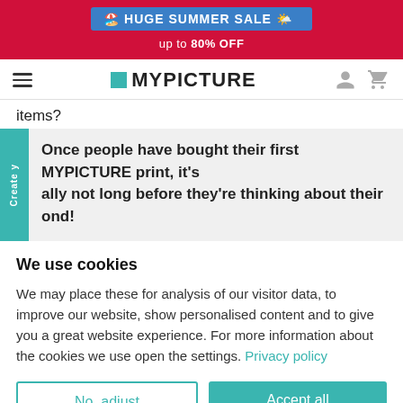[Figure (screenshot): HUGE SUMMER SALE banner on red background with blue banner strip showing beach umbrella and sun emoji]
up to 80% OFF
[Figure (logo): MYPICTURE logo with teal square, hamburger menu, user icon and cart icon]
items?
Once people have bought their first MYPICTURE print, it's ally not long before they're thinking about their ond!
We use cookies
We may place these for analysis of our visitor data, to improve our website, show personalised content and to give you a great website experience. For more information about the cookies we use open the settings. Privacy policy
No, adjust
Accept all